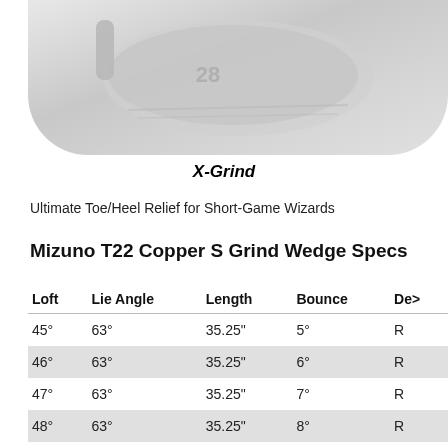[Figure (photo): Close-up photo of a Mizuno wedge golf club head, light gray/silver colored, showing the club face and sole, with '28' marking visible.]
X-Grind
Ultimate Toe/Heel Relief for Short-Game Wizards
Mizuno T22 Copper S Grind Wedge Specs
| Loft | Lie Angle | Length | Bounce | De(x) |
| --- | --- | --- | --- | --- |
| 45° | 63° | 35.25" | 5° | R |
| 46° | 63° | 35.25" | 6° | R |
| 47° | 63° | 35.25" | 7° | R |
| 48° | 63° | 35.25" | 8° | R |
| 49° | 63° | 35.25" | 6° | R |
| 50° | 63° | 35.25" | 7° | R |